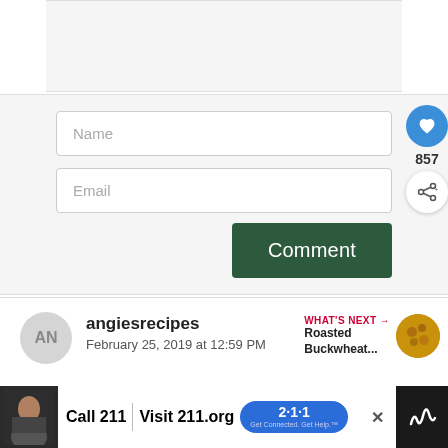[Figure (screenshot): Top gray section - empty comment text area above form]
[Figure (screenshot): Web form with Name and Email input fields, a green Comment button, a blue heart button showing 857 likes, and a share button]
Name
Email
Comment
857
angiesrecipes
February 25, 2019 at 12:59 PM
WHAT'S NEXT → Roasted Buckwheat...
[Figure (screenshot): Advertisement bar at bottom: Call 211 | Visit 211.org with 2-1-1 badge logo]